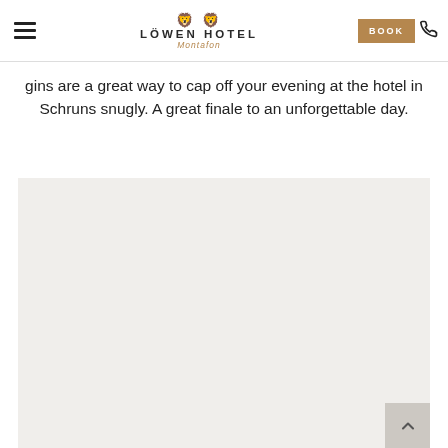LÖWEN HOTEL Montafon — navigation header with BOOK button and phone icon
gins are a great way to cap off your evening at the hotel in Schruns snugly. A great finale to an unforgettable day.
[Figure (photo): Large light beige/grey placeholder image area representing a hotel photo]